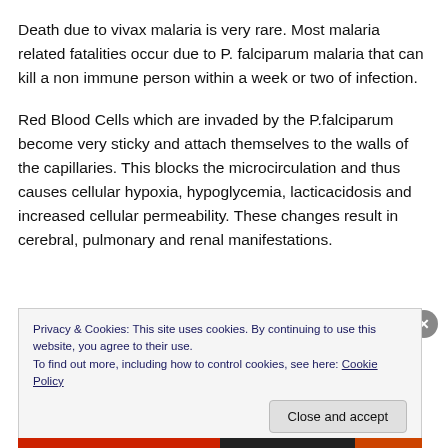Death due to vivax malaria is very rare. Most malaria related fatalities occur due to P. falciparum malaria that can kill a non immune person within a week or two of infection.
Red Blood Cells which are invaded by the P.falciparum become very sticky and attach themselves to the walls of the capillaries. This blocks the microcirculation and thus causes cellular hypoxia, hypoglycemia, lacticacidosis and increased cellular permeability. These changes result in cerebral, pulmonary and renal manifestations.
Privacy & Cookies: This site uses cookies. By continuing to use this website, you agree to their use.
To find out more, including how to control cookies, see here: Cookie Policy